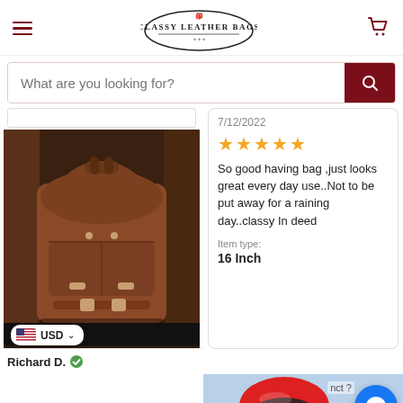CLASSY LEATHER BAGS
What are you looking for?
[Figure (photo): Brown leather backpack sitting on a dark chair]
7/12/2022
★★★★★ (5 stars)
So good having bag ,just looks great every day use..Not to be put away for a raining day..classy In deed
Item type: 16 Inch
USD
Richard D.
[Figure (photo): Person wearing a red motorcycle helmet outdoors]